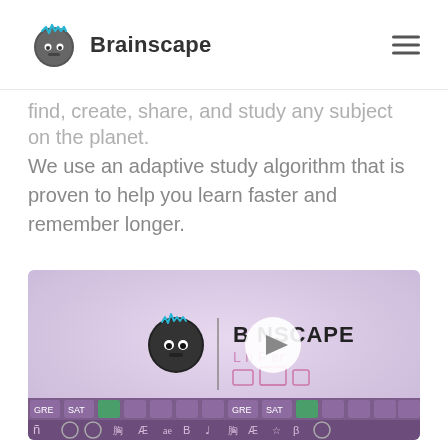Brainscape
find, create, share, and study any subject on the planet.
We use an adaptive study algorithm that is proven to help you learn faster and remember longer.
[Figure (screenshot): Brainscape promotional video thumbnail showing the Brainscape logo with a play button overlay, and a grid of subject/app icons at the bottom]